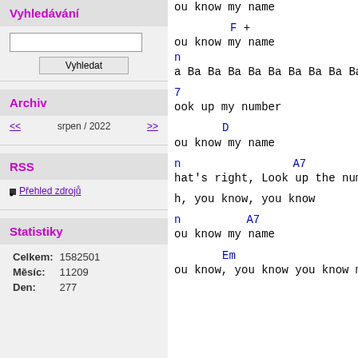Vyhledávání
[search input box]
Vyhledat
Archiv
<< srpen / 2022 >>
RSS
Přehled zdrojů
Statistiky
| Label | Value |
| --- | --- |
| Celkem: | 1582501 |
| Měsíc: | 11209 |
| Den: | 277 |
ou know my name

F +
ou know my name
n
a Ba Ba Ba Ba Ba Ba Ba Ba Ba

7
ook up my number

D
ou know my name

n                        A7
hat's right, Look up the num

h, you know, you know

n              A7
ou know my name

Em
ou know, you know you know m